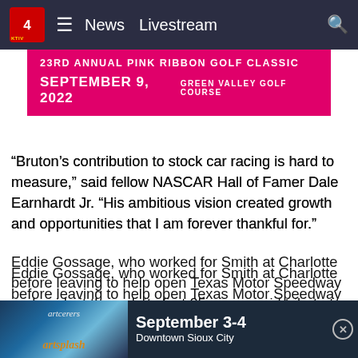[Figure (screenshot): KTIV News 4 navigation bar with logo, hamburger menu, News, Livestream links and search icon on dark navy background]
[Figure (infographic): Pink ribbon golf classic banner: 23RD ANNUAL PINK RIBBON GOLF CLASSIC, SEPTEMBER 9, 2022, GREEN VALLEY GOLF COURSE]
“Bruton’s contribution to stock car racing is hard to measure,” said fellow NASCAR Hall of Famer Dale Earnhardt Jr. “His ambitious vision created growth and opportunities that I am forever thankful for.”
Eddie Gossage, who worked for Smith at Charlotte before leaving to help open Texas Motor Speedway and guide it through its first 25 years, paid tribute to his former boss.
“I’ve met American Presidents and scholars. Astronauts and artists. World famous musicians and athletes. But the greatest man I ever met was Bruton Smith,” said Gossage, who re[...] ing together[...] aught
[Figure (screenshot): Advertisement banner: artceners artsplash September 3-4 Downtown Sioux City with close button]